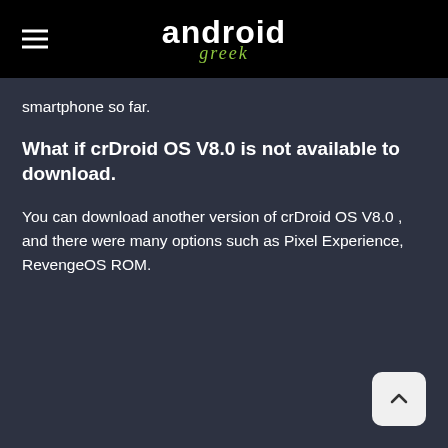android greek
smartphone so far.
What if crDroid OS V8.0 is not available to download.
You can download another version of crDroid OS V8.0 , and there were many options such as Pixel Experience, RevengeOS ROM.